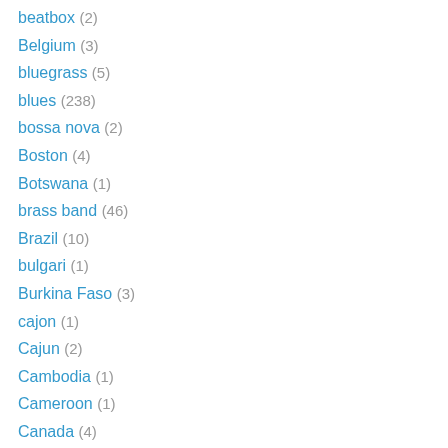beatbox (2)
Belgium (3)
bluegrass (5)
blues (238)
bossa nova (2)
Boston (4)
Botswana (1)
brass band (46)
Brazil (10)
bulgari (1)
Burkina Faso (3)
cajon (1)
Cajun (2)
Cambodia (1)
Cameroon (1)
Canada (4)
Cape Verde (1)
Caribbean (17)
cavaquinho (1)
celesta (20)